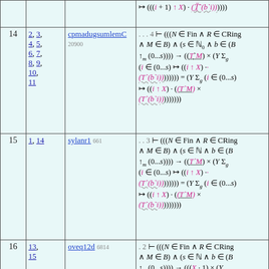| # | Refs | Lemma | Formula |
| --- | --- | --- | --- |
| 14 | 2,3,4,5,6,7,8,9,10,11 | cpmadugsumlemC 20900 | ...4 ⊢ (((N ∈ Fin ∧ R ∈ CRing ∧ M ∈ B) ∧ (s ∈ ℕ₀ ∧ b ∈ (B ↑m (0...s)))) → ((T`M) × (Y Σg (i ∈ (0...s) ↦ ((i ↑ X) · (T`(b`i))))))) = (Y Σg (i ∈ (0...s) ↦ ((i ↑ X) · ((T`M) × (T`(b`i)))))) |
| 15 | 1, 14 | sylanr1 661 | ..3 ⊢ (((N ∈ Fin ∧ R ∈ CRing ∧ M ∈ B) ∧ (s ∈ ℕ ∧ b ∈ (B ↑m (0...s)))) → ((T`M) × (Y Σg (i ∈ (0...s) ↦ ((i ↑ X) · (T`(b`i))))))) = (Y Σg (i ∈ (0...s) ↦ ((i ↑ X) · ((T`M) × (T`(b`i)))))) |
| 16 | 13, 15 | oveq12d 6814 | .2 ⊢ (((N ∈ Fin ∧ R ∈ CRing ∧ M ∈ B) ∧ (s ∈ ℕ ∧ b ∈ (B ↑m (0...s)))) → (((X · 1) × (Y Σg (i ∈ (0...s) ↦ ((i ↑ X) · (T`(b`i)))))) − ((T`M) × (Y Σg (i ∈ (0...s) ↦ ((i ↑ X) · (T`(b`i))))))) = ((Y Σg (i ∈ (0...s) ↦ ((i+1) ↑ X) · (T`(b`i)))) − (Y Σg (i ∈ (0...s) ↦ ((i ↑ X) · ((T`M) × |